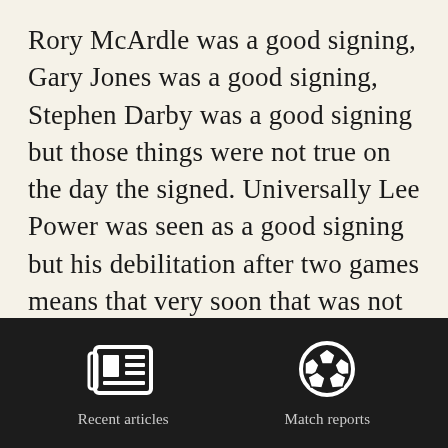Rory McArdle was a good signing, Gary Jones was a good signing, Stephen Darby was a good signing but those things were not true on the day the signed. Universally Lee Power was seen as a good signing but his debilitation after two games means that very soon that was not the case. See also Gordon Watson.

The quality of a signing is about
[Figure (infographic): Dark footer bar with two navigation icons: a newspaper/articles icon labeled 'Recent articles' and a soccer ball icon labeled 'Match reports']